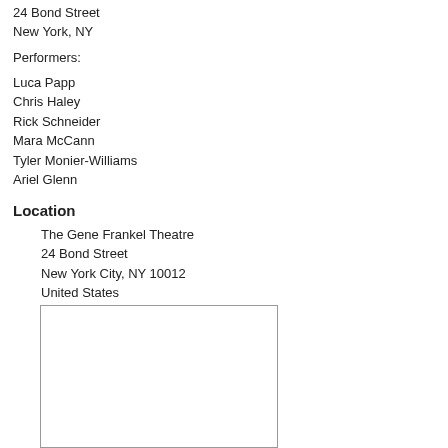24 Bond Street
New York, NY
Performers:
Luca Papp
Chris Haley
Rick Schneider
Mara McCann
Tyler Monier-Williams
Ariel Glenn
Location
The Gene Frankel Theatre
24 Bond Street
New York City, NY 10012
United States
[Figure (map): A map showing the location of The Gene Frankel Theatre at 24 Bond Street, New York City, NY 10012. The map area is mostly blank/white within a grey border rectangle.]